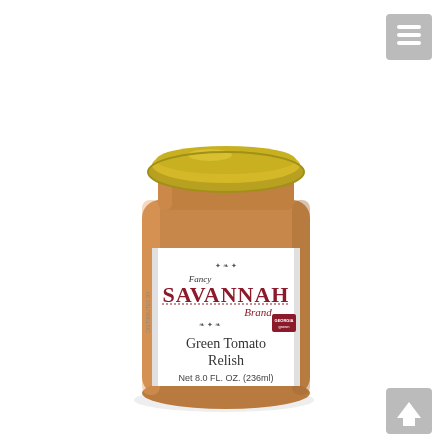[Figure (photo): A glass jar of Fancy Savannah Brand Green Tomato Relish with a gold lid. The white label shows the Savannah Brand logo in dark red/maroon decorative script with ornamental flourishes, and below it reads 'Green Tomato Relish' and 'Net 8.0 FL. OZ. (236ml)'. The jar contains an amber/orange-yellow relish. There is a small Georgia Grown badge on the label.]